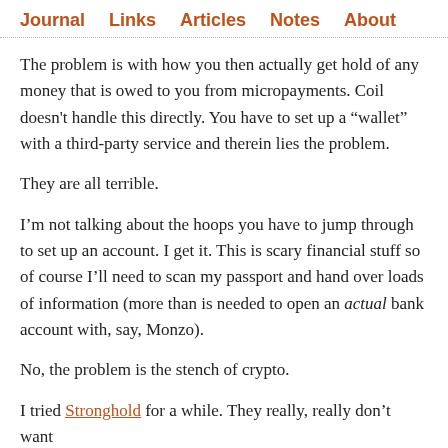Journal   Links   Articles   Notes   About
The problem is with how you then actually get hold of any money that is owed to you from micropayments. Coil doesn't handle this directly. You have to set up a “wallet” with a third-party service and therein lies the problem.
They are all terrible.
I’m not talking about the hoops you have to jump through to set up an account. I get it. This is scary financial stuff so of course I’ll need to scan my passport and hand over loads of information (more than is needed to open an actual bank account with, say, Monzo).
No, the problem is the stench of crypto.
I tried Stronghold for a while. They really, really don’t want